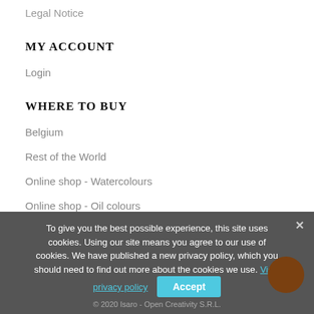Legal Notice
MY ACCOUNT
Login
WHERE TO BUY
Belgium
Rest of the World
Online shop - Watercolours
Online shop - Oil colours
To give you the best possible experience, this site uses cookies. Using our site means you agree to our use of cookies. We have published a new privacy policy, which you should need to find out more about the cookies we use. View privacy policy   Accept
© 2020 Isaro - Open Creativity S.R.L.